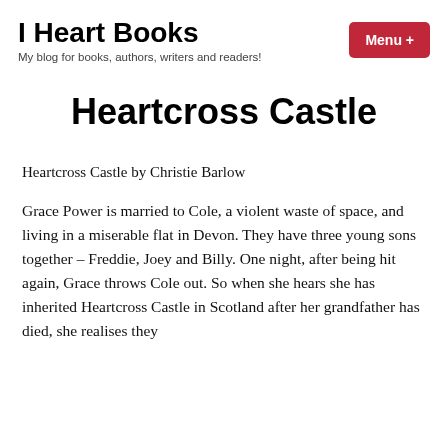I Heart Books
My blog for books, authors, writers and readers!
Heartcross Castle
Heartcross Castle by Christie Barlow
Grace Power is married to Cole, a violent waste of space, and living in a miserable flat in Devon. They have three young sons together – Freddie, Joey and Billy. One night, after being hit again, Grace throws Cole out. So when she hears she has inherited Heartcross Castle in Scotland after her grandfather has died, she realises they